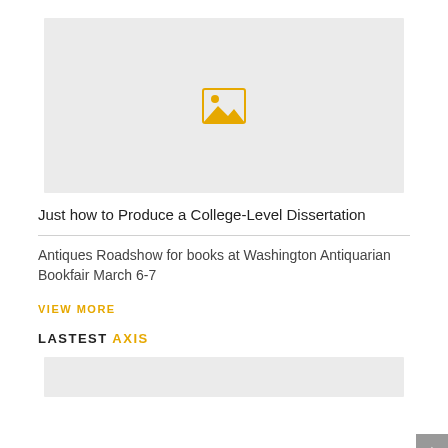[Figure (illustration): Gray placeholder image box with a yellow image icon in the center]
Just how to Produce a College-Level Dissertation
Antiques Roadshow for books at Washington Antiquarian Bookfair March 6-7
VIEW MORE
LASTEST AXIS
[Figure (illustration): Gray placeholder image box at the bottom of the page]